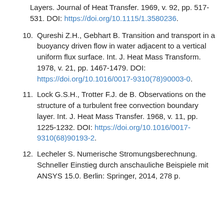Layers. Journal of Heat Transfer. 1969, v. 92, pp. 517-531. DOI: https://doi.org/10.1115/1.3580236.
10. Qureshi Z.H., Gebhart B. Transition and transport in a buoyancy driven flow in water adjacent to a vertical uniform flux surface. Int. J. Heat Mass Transform. 1978, v. 21, pp. 1467-1479. DOI: https://doi.org/10.1016/0017-9310(78)90003-0.
11. Lock G.S.H., Trotter F.J. de B. Observations on the structure of a turbulent free convection boundary layer. Int. J. Heat Mass Transfer. 1968, v. 11, pp. 1225-1232. DOI: https://doi.org/10.1016/0017-9310(68)90193-2.
12. Lecheler S. Numerische Stromungsberechnung. Schneller Einstieg durch anschauliche Beispiele mit ANSYS 15.0. Berlin: Springer, 2014, 278 p.